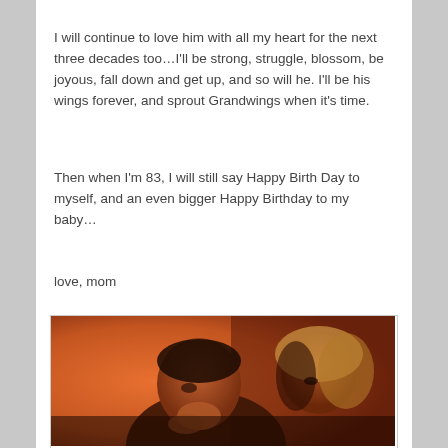I will continue to love him with all my heart for the next three decades too…I'll be strong, struggle, blossom, be joyous, fall down and get up, and so will he. I'll be his wings forever, and sprout Grandwings when it's time.
Then when I'm 83, I will still say Happy Birth Day to myself, and an even bigger Happy Birthday to my baby…
love, mom
[Figure (photo): A warm orange-toned photograph of a young boy and a woman (mother and child). The boy is in the foreground, chin resting on his hand, gazing upward. The woman is behind him, looking forward. The lighting is warm amber/orange.]